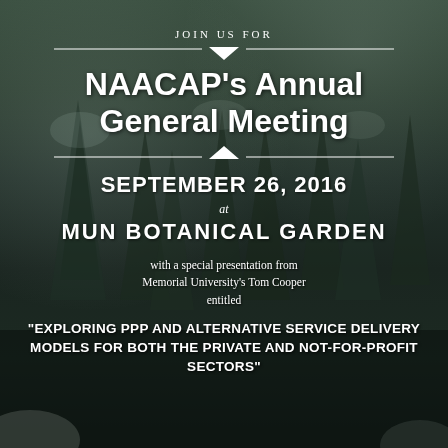[Figure (photo): Dark forest background with tall evergreen trees covered in snow/mist, dark moody tones]
JOIN US FOR
NAACAP's Annual General Meeting
SEPTEMBER 26, 2016
at
MUN BOTANICAL GARDEN
with a special presentation from Memorial University's Tom Cooper entitled
"EXPLORING PPP AND ALTERNATIVE SERVICE DELIVERY MODELS FOR BOTH THE PRIVATE AND NOT-FOR-PROFIT SECTORS"